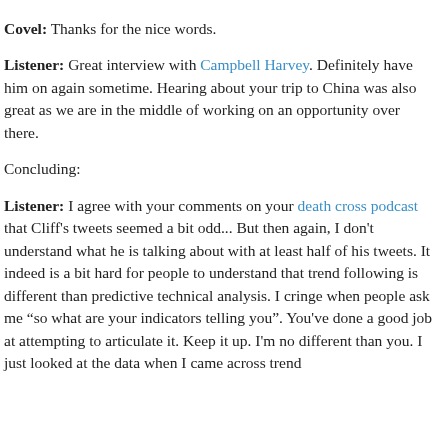Covel: Thanks for the nice words.
Listener: Great interview with Campbell Harvey. Definitely have him on again sometime. Hearing about your trip to China was also great as we are in the middle of working on an opportunity over there.
Concluding:
Listener: I agree with your comments on your death cross podcast that Cliff’s tweets seemed a bit odd... But then again, I don’t understand what he is talking about with at least half of his tweets. It indeed is a bit hard for people to understand that trend following is different than predictive technical analysis. I cringe when people ask me “so what are your indicators telling you”. You’ve done a good job at attempting to articulate it. Keep it up. I’m no different than you. I just looked at the data when I came across trend